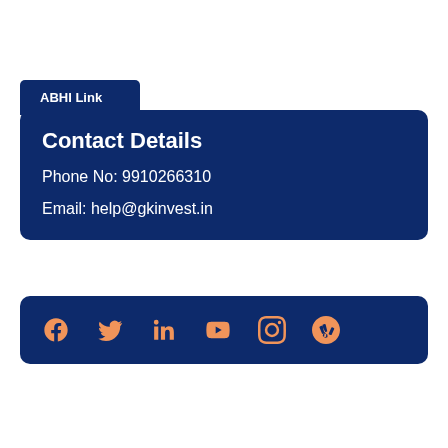ABHI Link
Contact Details
Phone No: 9910266310
Email: help@gkinvest.in
[Figure (infographic): Social media icons row: Facebook, Twitter, LinkedIn, YouTube, Instagram, Yelp — all in orange on dark blue background]